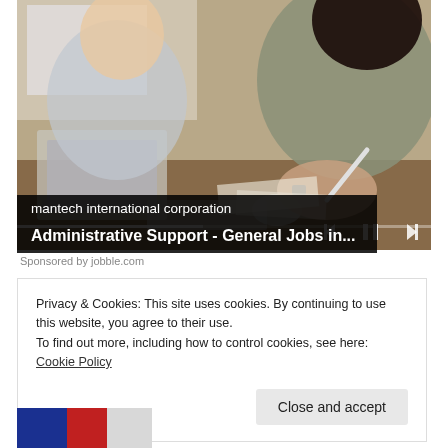[Figure (photo): Two people sitting at a desk working; one woman in foreground writing with a pen, another person with laptop in background. Office/work setting.]
mantech international corporation
Administrative Support - General Jobs in...
Sponsored by jobble.com
Privacy & Cookies: This site uses cookies. By continuing to use this website, you agree to their use.
To find out more, including how to control cookies, see here: Cookie Policy
Close and accept
[Figure (photo): Partial bottom image, appears to show a flag or colorful graphic, cropped]